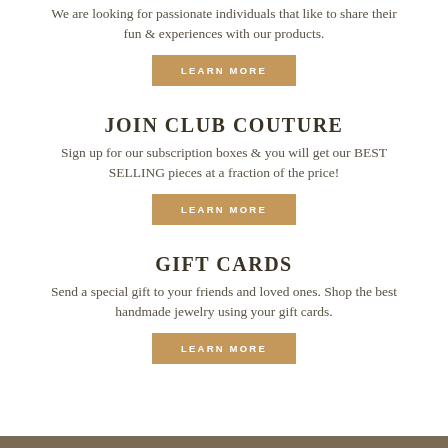We are looking for passionate individuals that like to share their fun & experiences with our products.
[Figure (other): Gold/tan button with white text reading LEARN MORE]
JOIN CLUB COUTURE
Sign up for our subscription boxes & you will get our BEST SELLING pieces at a fraction of the price!
[Figure (other): Gold/tan button with white text reading LEARN MORE]
GIFT CARDS
Send a special gift to your friends and loved ones. Shop the best handmade jewelry using your gift cards.
[Figure (other): Gold/tan button with white text reading LEARN MORE]